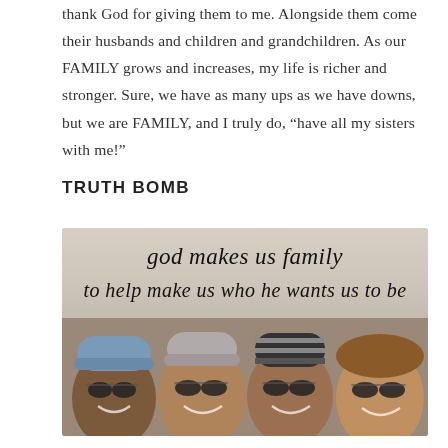thank God for giving them to me. Alongside them come their husbands and children and grandchildren. As our FAMILY grows and increases, my life is richer and stronger. Sure, we have as many ups as we have downs, but we are FAMILY, and I truly do, “have all my sisters with me!”
TRUTH BOMB
[Figure (photo): Photo of four women smiling and wearing winter hats and sunglasses outdoors, with a cursive text overlay reading 'god makes us family to help make us who he wants us to be']